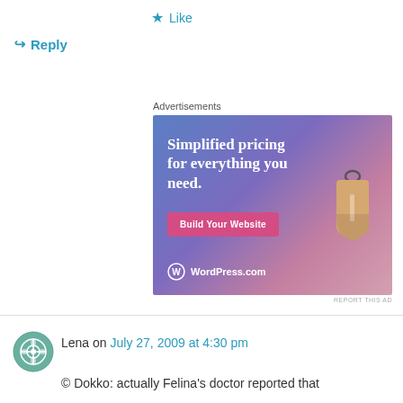★ Like
↪ Reply
Advertisements
[Figure (screenshot): WordPress.com advertisement banner with text 'Simplified pricing for everything you need.' and a 'Build Your Website' button, plus a price tag graphic and WordPress.com logo.]
REPORT THIS AD
Lena on July 27, 2009 at 4:30 pm
© Dokko: actually Felina's doctor reported that